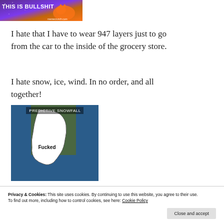[Figure (photo): Meme image with purple/orange background showing text 'THIS IS BULLSHIT' and memecrunch.com watermark]
I hate that I have to wear 947 layers just to go from the car to the inside of the grocery store.
I hate snow, ice, wind. In no order, and all together!
[Figure (photo): Weather map screenshot showing 'PREDICTIVE SNOWFALL' with region labeled 'Fucked']
Privacy & Cookies: This site uses cookies. By continuing to use this website, you agree to their use.
To find out more, including how to control cookies, see here: Cookie Policy